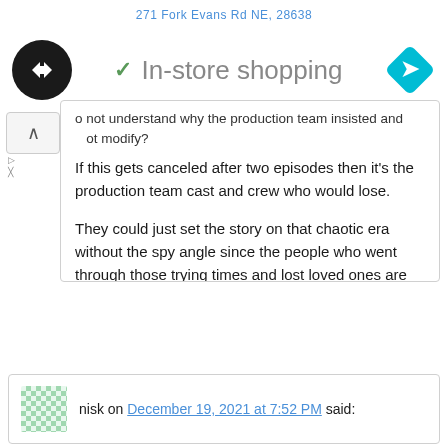271 Fork Evans Rd NE, 28638
[Figure (logo): Black circle logo with double arrow symbol and cyan diamond navigation icon, with checkmark and In-store shopping text]
o not understand why the production team insisted and not modify?
If this gets canceled after two episodes then it's the production team cast and crew who would lose.
They could just set the story on that chaotic era without the spy angle since the people who went through those trying times and lost loved ones are now getting emotionally upset and are now dead set in putting an end to Snowdrop.
I had thought that after so many months, they had time to change and edit what is needed to not anger the viewing public again.
Reply ↓
nisk on December 19, 2021 at 7:52 PM said: